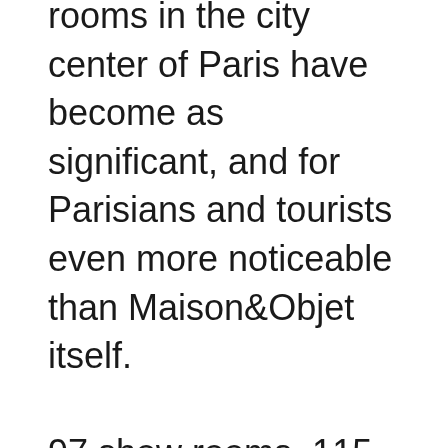rooms in the city center of Paris have become as significant, and for Parisians and tourists even more noticeable than Maison&Objet itself.

97 show rooms, 115 brands made a very intense and eventful program. It wasn't easy but we did it! We came to Paris with our group of design-tour, so